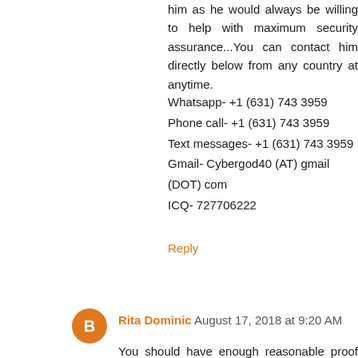speed in a matter of few hours, you can also contact him as he would always be willing to help with maximum security assurance...You can contact him directly below from any country at anytime.
Whatsapp- +1 (631) 743 3959
Phone call- +1 (631) 743 3959
Text messages- +1 (631) 743 3959
Gmail- Cybergod40 (AT) gmail (DOT) com
ICQ- 727706222
Reply
Rita Dominic  August 17, 2018 at 9:20 AM
You should have enough reasonable proof before you confront your cheating partner. Make use of professional service to grab all their phone calls, chat/email history.This company's services are highly rated because they did a great job for me, you can reach them at Nelleston8817 at OUTLOOK dot...